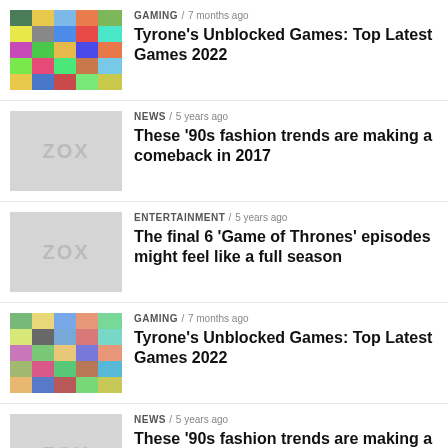GAMING / 7 months ago — Tyrone's Unblocked Games: Top Latest Games 2022
NEWS / 5 years ago — These ’90s fashion trends are making a comeback in 2017
ENTERTAINMENT / 5 years ago — The final 6 ‘Game of Thrones’ episodes might feel like a full season
GAMING / 7 months ago — Tyrone's Unblocked Games: Top Latest Games 2022
NEWS / 5 years ago — These ’90s fashion trends are making a comeback in 2017
ENTERTAINMENT / 5 years ago — The final 6 ‘Game of Thrones’ episodes might